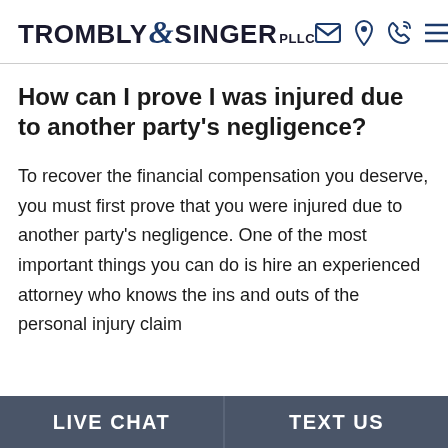TROMBLY & SINGER PLLC
How can I prove I was injured due to another party's negligence?
To recover the financial compensation you deserve, you must first prove that you were injured due to another party's negligence. One of the most important things you can do is hire an experienced attorney who knows the ins and outs of the personal injury claim
LIVE CHAT   TEXT US